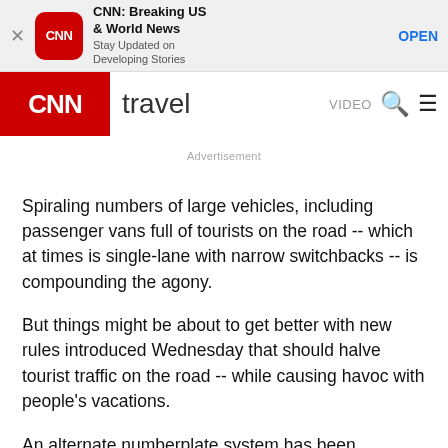[Figure (screenshot): CNN app banner ad with close button, CNN icon, title 'CNN: Breaking US & World News', subtitle 'Stay Updated on Developing Stories', and OPEN button]
CNN travel  VIDEO
Advertisement
Spiraling numbers of large vehicles, including passenger vans full of tourists on the road -- which at times is single-lane with narrow switchbacks -- is compounding the agony.
But things might be about to get better with new rules introduced Wednesday that should halve tourist traffic on the road -- while causing havoc with people's vacations.
An alternate numberplate system has been launched, meaning that cars can only access the famous 22-mile stretch between Vietri sul Mare and Positano every other day, during peak hours in peak season.